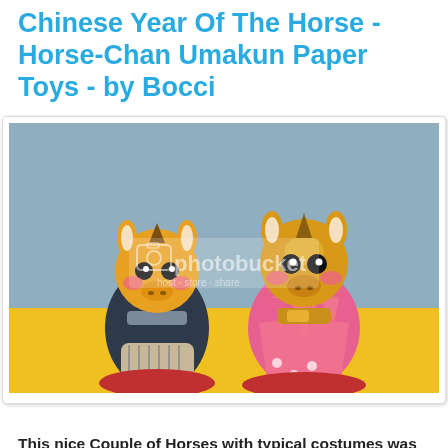Chinese Year Of The Horse - Horse-Chan Umakun Paper Toys - by Bocci
[Figure (photo): Two cute paper toy horse figures dressed in traditional Japanese costumes (male in dark kimono/hakama, female in pink kimono) sitting on red cushions against a blue-grey and yellow background. A Photobucket watermark is visible.]
This nice Couple of Horses with typical costumes was created by Japanese designer Bocci, from Bocchiokaminoasobiba website.
[Figure (photo): Two smaller thumbnail images of the horse paper toys, partially visible at the bottom of the page.]